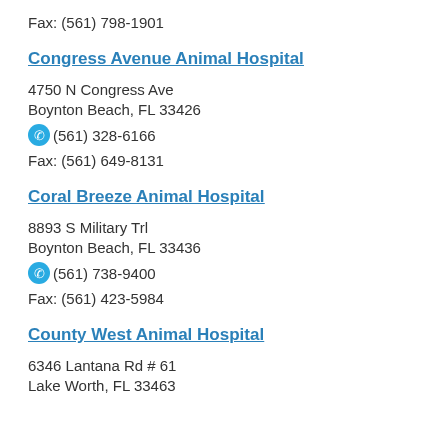Fax: (561) 798-1901
Congress Avenue Animal Hospital
4750 N Congress Ave
Boynton Beach, FL 33426
(561) 328-6166
Fax: (561) 649-8131
Coral Breeze Animal Hospital
8893 S Military Trl
Boynton Beach, FL 33436
(561) 738-9400
Fax: (561) 423-5984
County West Animal Hospital
6346 Lantana Rd # 61
Lake Worth, FL 33463